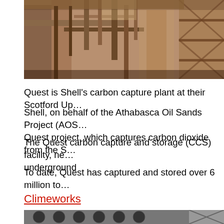[Figure (photo): Industrial facility with pipes and steel structures, sepia-toned photograph of a carbon capture plant]
Quest is Shell's carbon capture plant at their Scotford Up...
Shell, on behalf of the Athabasca Oil Sands Project (AOS... Quest project, which captures carbon dioxide from the S...
The Quest carbon capture and storage (CCS) facility, ne... underground
To date, Quest has captured and stored over 6 million to...
Climeworks
[Figure (photo): Industrial building with large circular fans/ventilation units and metal framework structures, black and white photograph of Climeworks direct air capture facility]